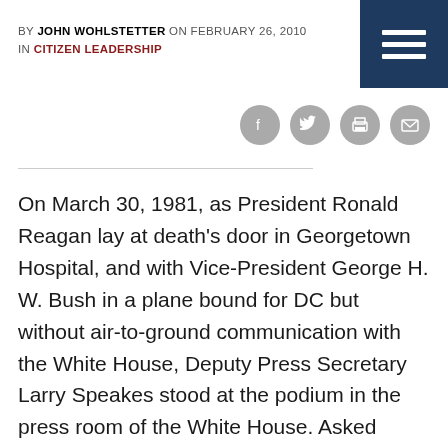BY JOHN WOHLSTETTER ON FEBRUARY 26, 2010 IN CITIZEN LEADERSHIP
[Figure (illustration): Navigation menu hamburger icon (three white horizontal lines on dark navy blue square background), top-right corner]
[Figure (illustration): Four circular social media icons: Facebook, Twitter, Print, Email — grey circles with white icons]
On March 30, 1981, as President Ronald Reagan lay at death’s door in Georgetown Hospital, and with Vice-President George H. W. Bush in a plane bound for DC but without air-to-ground communication with the White House, Deputy Press Secretary Larry Speakes stood at the podium in the press room of the White House. Asked about who had control of the “nuclear football” Speakes was unable to give a coherent answer. To the rescue came Secretary of State Alexander Haig